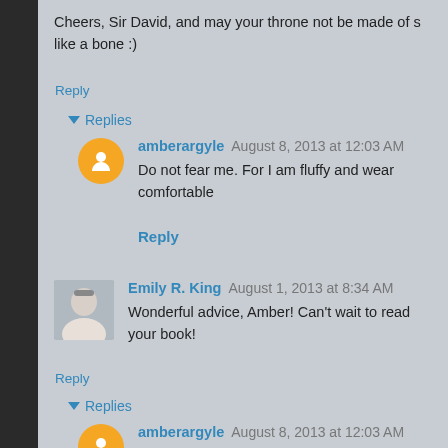Cheers, Sir David, and may your throne not be made of s... like a bone :)
Reply
Replies
amberargyle  August 8, 2013 at 12:03 AM
Do not fear me. For I am fluffy and wear comfortable...
Reply
Emily R. King  August 1, 2013 at 8:34 AM
Wonderful advice, Amber! Can't wait to read your book!
Reply
Replies
amberargyle  August 8, 2013 at 12:03 AM
I hope you love it!